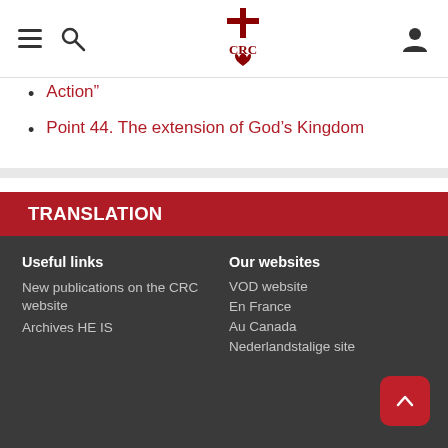CRC website navigation header with menu, search, logo, and user icons
Action” (partial, cut off at top)
Point 44. The extension of God’s Kingdom
TRANSLATION
🇪🇸  Punto 34. La Contra reforma católica en el siglo XX.
Useful links: New publications on the CRC website, Archives HE IS | Our websites: VOD website, En France, Au Canada, Nederlandstalige site